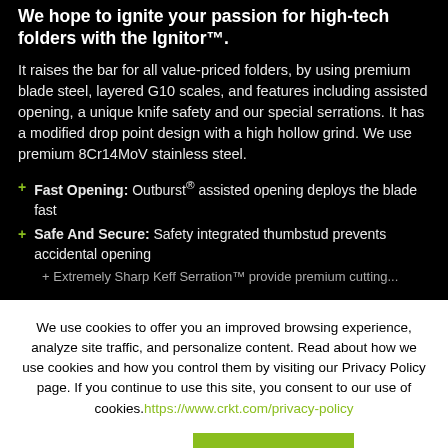We hope to ignite your passion for high-tech folders with the Ignitor™.
It raises the bar for all value-priced folders, by using premium blade steel, layered G10 scales, and features including assisted opening, a unique knife safety and our special serrations. It has a modified drop point design with a high hollow grind. We use premium 8Cr14MoV stainless steel.
Fast Opening: Outburst® assisted opening deploys the blade fast
Safe And Secure: Safety integrated thumbstud prevents accidental opening
We use cookies to offer you an improved browsing experience, analyze site traffic, and personalize content. Read about how we use cookies and how you control them by visiting our Privacy Policy page. If you continue to use this site, you consent to our use of cookies. https://www.crkt.com/privacy-policy
CLOSE
ACCEPT